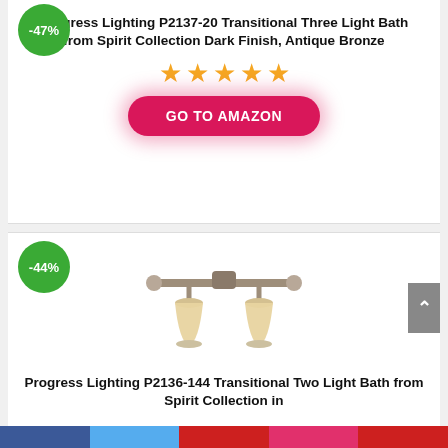-47%
Progress Lighting P2137-20 Transitional Three Light Bath from Spirit Collection Dark Finish, Antique Bronze
[Figure (other): Five orange star rating icons]
GO TO AMAZON
[Figure (photo): Progress Lighting two-light bath fixture in antique pewter finish with bell-shaped glass shades]
-44%
Progress Lighting P2136-144 Transitional Two Light Bath from Spirit Collection in